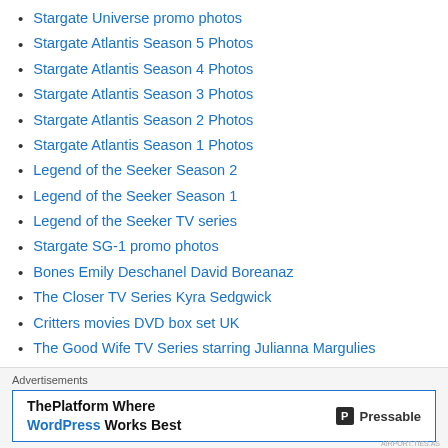Stargate Universe promo photos
Stargate Atlantis Season 5 Photos
Stargate Atlantis Season 4 Photos
Stargate Atlantis Season 3 Photos
Stargate Atlantis Season 2 Photos
Stargate Atlantis Season 1 Photos
Legend of the Seeker Season 2
Legend of the Seeker Season 1
Legend of the Seeker TV series
Stargate SG-1 promo photos
Bones Emily Deschanel David Boreanaz
The Closer TV Series Kyra Sedgwick
Critters movies DVD box set UK
The Good Wife TV Series starring Julianna Margulies
PETA Ad Campaigns Celebrities Selection
World Cities Panorama Wallpapers 5760×1200
Advertisements
[Figure (other): Advertisement banner for Pressable: 'ThePlatform Where WordPress Works Best' with Pressable logo]